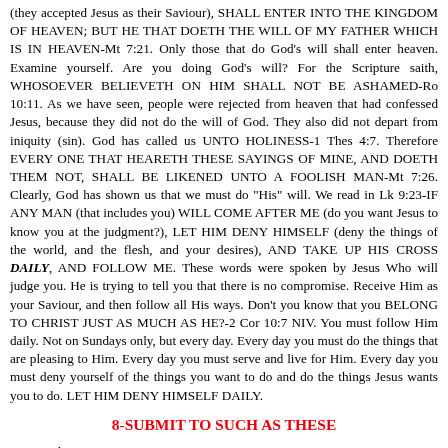(they accepted Jesus as their Saviour), SHALL ENTER INTO THE KINGDOM OF HEAVEN; BUT HE THAT DOETH THE WILL OF MY FATHER WHICH IS IN HEAVEN-Mt 7:21. Only those that do God's will shall enter heaven. Examine yourself. Are you doing God's will? For the Scripture saith, WHOSOEVER BELIEVETH ON HIM SHALL NOT BE ASHAMED-Ro 10:11. As we have seen, people were rejected from heaven that had confessed Jesus, because they did not do the will of God. They also did not depart from iniquity (sin). God has called us UNTO HOLINESS-1 Thes 4:7. Therefore EVERY ONE THAT HEARETH THESE SAYINGS OF MINE, AND DOETH THEM NOT, SHALL BE LIKENED UNTO A FOOLISH MAN-Mt 7:26. Clearly, God has shown us that we must do "His" will. We read in Lk 9:23-IF ANY MAN (that includes you) WILL COME AFTER ME (do you want Jesus to know you at the judgment?), LET HIM DENY HIMSELF (deny the things of the world, and the flesh, and your desires), AND TAKE UP HIS CROSS DAILY, AND FOLLOW ME. These words were spoken by Jesus Who will judge you. He is trying to tell you that there is no compromise. Receive Him as your Saviour, and then follow all His ways. Don't you know that you BELONG TO CHRIST JUST AS MUCH AS HE?-2 Cor 10:7 NIV. You must follow Him daily. Not on Sundays only, but every day. Every day you must do the things that are pleasing to Him. Every day you must serve and live for Him. Every day you must deny yourself of the things you want to do and do the things Jesus wants you to do. LET HIM DENY HIMSELF DAILY.
8-SUBMIT TO SUCH AS THESE
Paul says, I URGE YOU, BROTHERS, TO SUBMIT TO SUCH AS THESE AND TO EVERYONE WHO JOINS IN THE WORK, AND LABORS AT IT-1 Cor 16:15,16 NIV. He is saying, submit or help those people who are doing the work of the Lord; people that labor at it.